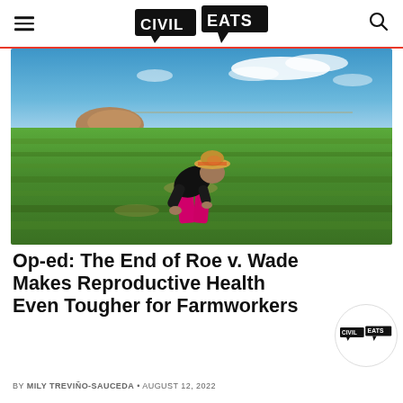Civil Eats
[Figure (photo): A farmworker bending over rows of strawberry plants in a large agricultural field under a partly cloudy blue sky. The worker is wearing a black shirt, pink shorts, and a colorful hat.]
Op-ed: The End of Roe v. Wade Makes Reproductive Health Even Tougher for Farmworkers
BY MILY TREVIÑO-SAUCEDA • AUGUST 12, 2022